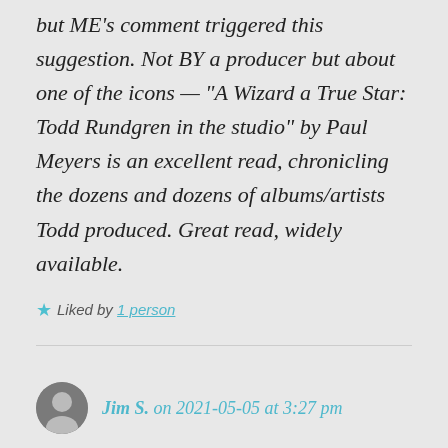but ME's comment triggered this suggestion. Not BY a producer but about one of the icons — "A Wizard a True Star: Todd Rundgren in the studio" by Paul Meyers is an excellent read, chronicling the dozens and dozens of albums/artists Todd produced. Great read, widely available.
Liked by 1 person
Jim S. on 2021-05-05 at 3:27 pm